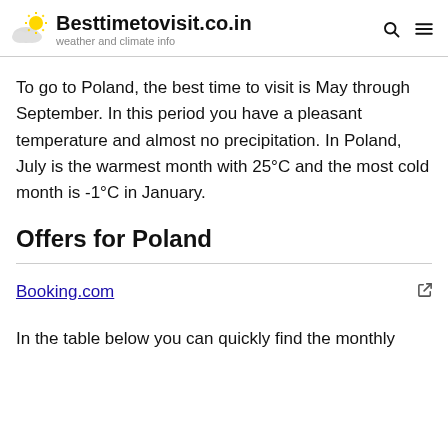Besttimetovisit.co.in — weather and climate info
To go to Poland, the best time to visit is May through September. In this period you have a pleasant temperature and almost no precipitation. In Poland, July is the warmest month with 25°C and the most cold month is -1°C in January.
Offers for Poland
Booking.com
In the table below you can quickly find the monthly